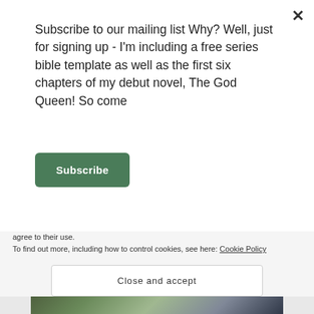Subscribe to our mailing list Why? Well, just for signing up - I'm including a free series bible template as well as the first six chapters of my debut novel, The God Queen! So come
[Figure (other): Green Subscribe button]
[Figure (other): Dark navy banner reading 'Opinions. We all have them!' in white serif text]
[Figure (photo): Partial photo strip of a nature/fantasy scene visible behind overlays]
Privacy & Cookies: This site uses cookies. By continuing to use this website, you agree to their use.
To find out more, including how to control cookies, see here: Cookie Policy
Close and accept